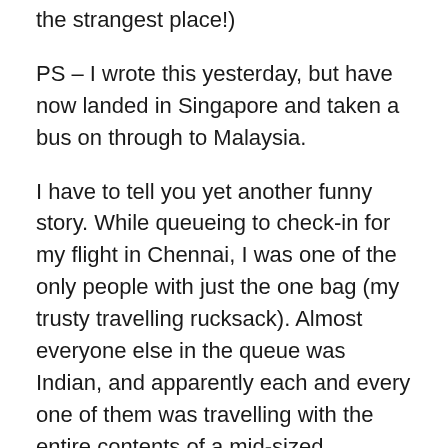the strangest place!)
PS – I wrote this yesterday, but have now landed in Singapore and taken a bus on through to Malaysia.
I have to tell you yet another funny story. While queueing to check-in for my flight in Chennai, I was one of the only people with just the one bag (my trusty travelling rucksack). Almost everyone else in the queue was Indian, and apparently each and every one of them was travelling with the entire contents of a mid-sized apartment. Literally everyone had huge great boxes filled with stuff, in addition to several large suitcases.
As it was a budget cheapo flight, they were being very strict with the 20kg weight allowance, and more and more people were being turned away to go and pay for excess